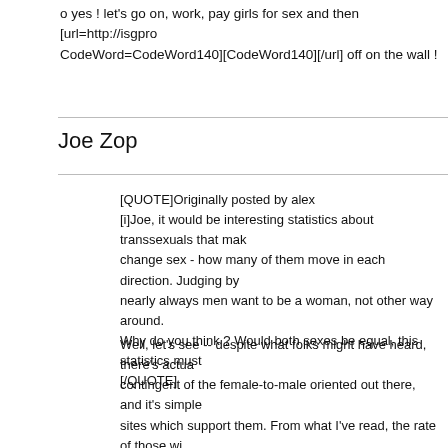o yes ! let's go on, work, pay girls for sex and then [url=http://isgpro...CodeWord=CodeWord140][CodeWord140][/url] off on the wall !
Joe Zop
[QUOTE]Originally posted by alex
[i]Joe, it would be interesting statistics about transsexuals that make change sex - how many of them move in each direction. Judging by nearly always men want to be a woman, not other way around. Why do you think ? Would both sexes be equal, this statistics must[/QUOTE]
Well, let's see -- despite what folks might have heard, there's actua contingent of the female-to-male oriented out there, and it's simple sites which support them. From what I've read, the rate of those wi about 3-1 male to female, though I don't know the actual percentag go through with it. Why more men that women? Perhaps it's becau penetrated as a woman is requires a vagina, whereas the need to p would simply requires a strap-on. And in my experience in dealing w transgendered community (and transsexuals are usually but not alw is someone who feels an aversion to their own sex and sexual part assume the male role feel able to do that without necessarily headi literalness of the sexual parts, whereas men who want to assume t focus on issues of the body. To me, that's not all that surprising, giv more visual and body-oriented about their sexual processes.